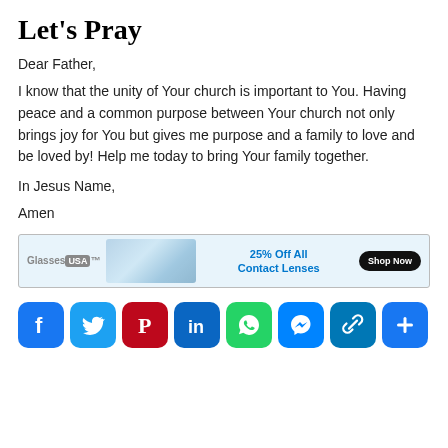Let's Pray
Dear Father,
I know that the unity of Your church is important to You. Having peace and a common purpose between Your church not only brings joy for You but gives me purpose and a family to love and be loved by! Help me today to bring Your family together.
In Jesus Name,
Amen
[Figure (infographic): Advertisement banner for GlassesUSA showing contact lenses with text '25% Off All Contact Lenses' and a 'Shop Now' button]
[Figure (infographic): Row of social sharing icons: Facebook, Twitter, Pinterest, LinkedIn, WhatsApp, Messenger, copy link, and a plus/more button]